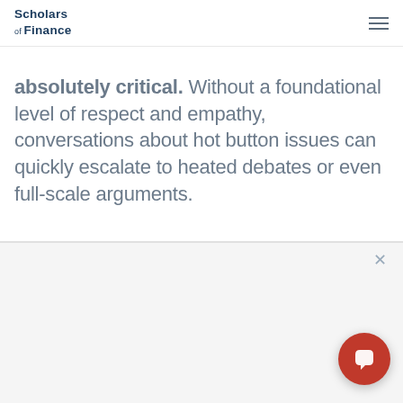Scholars of Finance
absolutely critical. Without a foundational level of respect and empathy, conversations about hot button issues can quickly escalate to heated debates or even full-scale arguments.
Humility